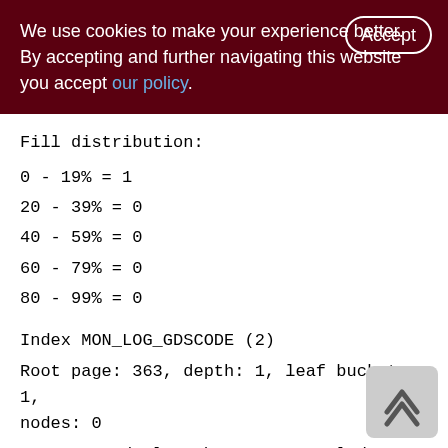We use cookies to make your experience better. By accepting and further navigating this website you accept our policy.
Fill distribution:
0 - 19% = 1
20 - 39% = 0
40 - 59% = 0
60 - 79% = 0
80 - 99% = 0
Index MON_LOG_GDSCODE (2)
Root page: 363, depth: 1, leaf buckets: 1, nodes: 0
Average node length: 0.00, total dup: 0, max dup: 0